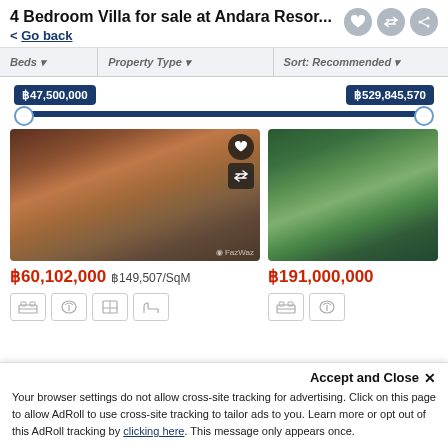4 Bedroom Villa for sale at Andara Resor...
< Go back
Beds   Property Type   Sort: Recommended
฿47,500,000   ฿529,845,570
[Figure (photo): Interior photo of luxury villa living room with wooden floors and furniture]
[Figure (photo): Exterior photo of villa with pool and palm trees]
฿60,102,000   ฿149,507/SqM
฿191,000,000
Accept and Close ✕
Your browser settings do not allow cross-site tracking for advertising. Click on this page to allow AdRoll to use cross-site tracking to tailor ads to you. Learn more or opt out of this AdRoll tracking by clicking here. This message only appears once.